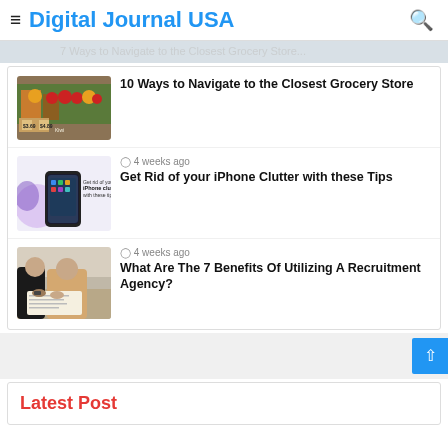Digital Journal USA
[Figure (photo): Partially visible article image at top of page showing grocery store items]
[Figure (photo): Fruit and vegetable grocery store display with price signs ($3.69, $4.89, Kiwi)]
10 Ways to Navigate to the Closest Grocery Store
4 weeks ago
[Figure (photo): iPhone with text 'Get rid of your iPhone clutter with these tips' and purple blob background]
Get Rid of your iPhone Clutter with these Tips
4 weeks ago
[Figure (photo): Two people at a desk, one in a beige jacket, appearing to sign documents]
What Are The 7 Benefits Of Utilizing A Recruitment Agency?
Latest Post